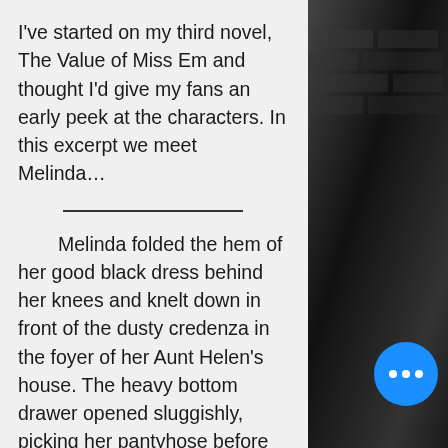I've started on my third novel, The Value of Miss Em and thought I'd give my fans an early peek at the characters. In this excerpt we meet Melinda…
Melinda folded the hem of her good black dress behind her knees and knelt down in front of the dusty credenza in the foyer of her Aunt Helen's house. The heavy bottom drawer opened sluggishly, picking her pantyhose before resting in her lap. She reached in and lugged the dried leather Bible from its musty bed. She rose, muscled the drawer half-closed with her stockinged foot and headed for the dining room table. [she] was clearing away the last of the coffee
[Figure (photo): Dark black and white photo of a brick wall, occupying the right portion of the page]